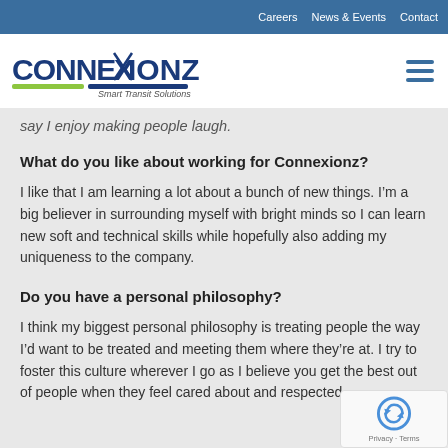Careers  News & Events  Contact
[Figure (logo): Connexionz Smart Transit Solutions logo with navigation bar and hamburger menu icon]
say I enjoy making people laugh.
What do you like about working for Connexionz?
I like that I am learning a lot about a bunch of new things. I'm a big believer in surrounding myself with bright minds so I can learn new soft and technical skills while hopefully also adding my uniqueness to the company.
Do you have a personal philosophy?
I think my biggest personal philosophy is treating people the way I'd want to be treated and meeting them where they're at. I try to foster this culture wherever I go as I believe you get the best out of people when they feel cared about and respected.